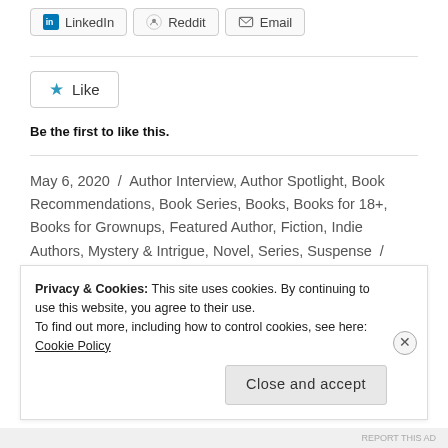[Figure (other): Social share buttons: LinkedIn, Reddit, Email]
[Figure (other): Like button with star icon]
Be the first to like this.
May 6, 2020 / Author Interview, Author Spotlight, Book Recommendations, Book Series, Books, Books for 18+, Books for Grownups, Featured Author, Fiction, Indie Authors, Mystery & Intrigue, Novel, Series, Suspense / Action, Author Interview, Author Spotlight, Authors, Authors Worth Reading, Book Recommendations, Book Series Worth Reading, Book Suggestions,
Privacy & Cookies: This site uses cookies. By continuing to use this website, you agree to their use.
To find out more, including how to control cookies, see here: Cookie Policy
Close and accept